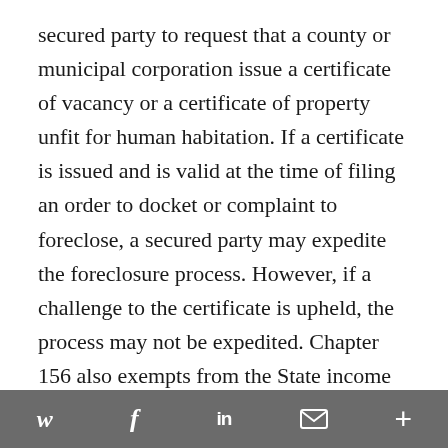secured party to request that a county or municipal corporation issue a certificate of vacancy or a certificate of property unfit for human habitation. If a certificate is issued and is valid at the time of filing an order to docket or complaint to foreclose, a secured party may expedite the foreclosure process. However, if a challenge to the certificate is upheld, the process may not be expedited. Chapter 156 also exempts from the State income tax any payment to an individual made as a result of a foreclosure settlement negotiated by the Maryland Attorney
social share icons: Twitter, Facebook, LinkedIn, Email, More